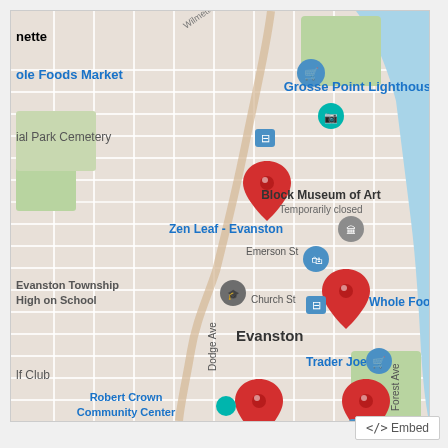[Figure (map): Google Maps screenshot showing Evanston, Illinois area with red map pins marking several locations. Visible landmarks include Grosse Point Lighthouse, Block Museum of Art (Temporarily closed), Zen Leaf - Evanston, Whole Foods Market, Trader Joe's, Evanston Township High School, Robert Crown Community Center, Sam's Club, Ascension Saint Francis hospital. Street labels include Emerson St, Church St, Dodge Ave, Forest Ave. Lake Michigan visible on the right side.]